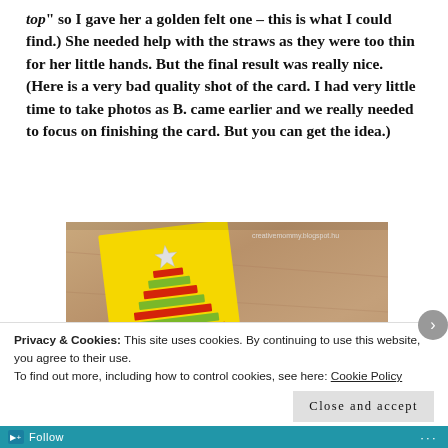top" so I gave her a golden felt one – this is what I could find.) She needed help with the straws as they were too thin for her little hands. But the final result was really nice. (Here is a very bad quality shot of the card. I had very little time to take photos as B. came earlier and we really needed to focus on finishing the card. But you can get the idea.)
[Figure (photo): A yellow greeting card with a Christmas tree made of colored straws/strips, topped with a snowflake star, photographed on a wooden table. Card is tilted slightly. Watermark reads 'creativemommy.blogspot.hu'.]
Privacy & Cookies: This site uses cookies. By continuing to use this website, you agree to their use.
To find out more, including how to control cookies, see here: Cookie Policy
Close and accept
Follow